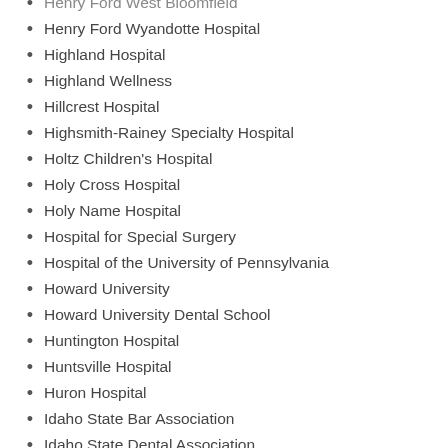Henry Ford West Bloomfield
Henry Ford Wyandotte Hospital
Highland Hospital
Highland Wellness
Hillcrest Hospital
Highsmith-Rainey Specialty Hospital
Holtz Children's Hospital
Holy Cross Hospital
Holy Name Hospital
Hospital for Special Surgery
Hospital of the University of Pennsylvania
Howard University
Howard University Dental School
Huntington Hospital
Huntsville Hospital
Huron Hospital
Idaho State Bar Association
Idaho State Dental Association